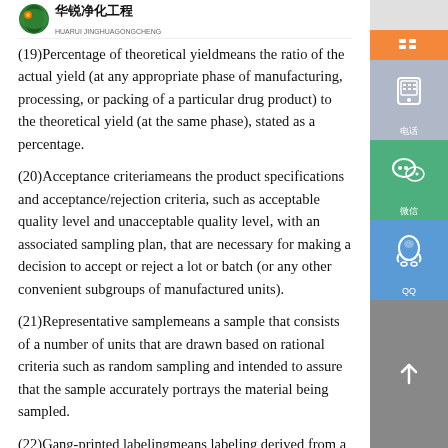华锐净化工程
(19)Percentage of theoretical yieldmeans the ratio of the actual yield (at any appropriate phase of manufacturing, processing, or packing of a particular drug product) to the theoretical yield (at the same phase), stated as a percentage.
(20)Acceptance criteriameans the product specifications and acceptance/rejection criteria, such as acceptable quality level and unacceptable quality level, with an associated sampling plan, that are necessary for making a decision to accept or reject a lot or batch (or any other convenient subgroups of manufactured units).
(21)Representative samplemeans a sample that consists of a number of units that are drawn based on rational criteria such as random sampling and intended to assure that the sample accurately portrays the material being sampled.
(22)Gang-printed labelingmeans labeling derived from a